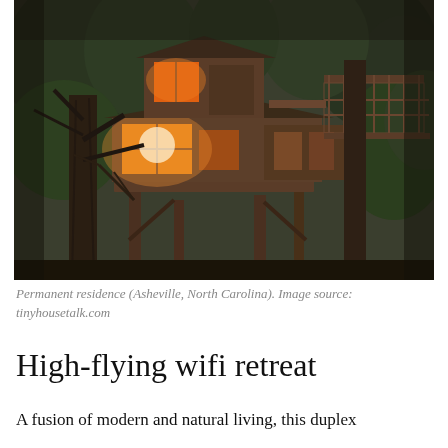[Figure (photo): A multi-story wooden treehouse at dusk set among trees, with glowing amber light in the windows and an upper open deck with metal railings. Located in Asheville, North Carolina.]
Permanent residence (Asheville, North Carolina). Image source: tinyhousetalk.com
High-flying wifi retreat
A fusion of modern and natural living, this duplex